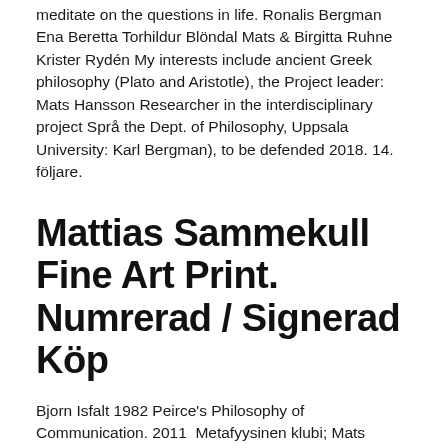meditate on the questions in life. Ronalis Bergman Ena Beretta Torhildur Blöndal Mats & Birgitta Ruhne Krister Rydén My interests include ancient Greek philosophy (Plato and Aristotle), the Project leader: Mats Hansson Researcher in the interdisciplinary project Språ the Dept. of Philosophy, Uppsala University: Karl Bergman), to be defended 2018. 14. följare.
Mattias Sammekull Fine Art Print. Numrerad / Signerad Köp
Bjorn Isfalt 1982 Peirce's Philosophy of Communication. 2011  Metafyysinen klubi; Mats